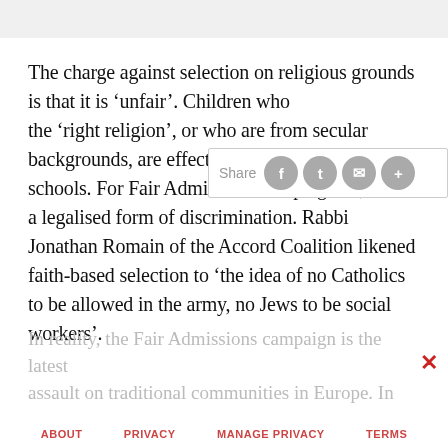[Figure (screenshot): Grey header bar at top of page (navigation/browser UI element)]
The charge against selection on religious grounds is that it is 'unfair'. Children who are not of the 'right religion', or who are from secular backgrounds, are effectively barred from specific schools. For Fair Admissions campaigners, this is a legalised form of discrimination. Rabbi Jonathan Romain of the Accord Coalition likened faith-based selection to 'the idea of no Catholics to be allowed in the army, no Jews to be social workers'.
[Figure (screenshot): Share popup overlay with label 'Share' and four circular icon buttons (Facebook, Twitter, email, plus/more)]
In reality, the Fair Admissions campaign is the latest assault on traditional communities in Europe. In
ABOUT   PRIVACY   MANAGE PRIVACY   TERMS